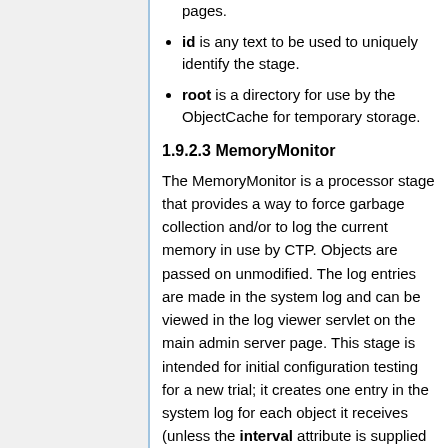pages.
id is any text to be used to uniquely identify the stage.
root is a directory for use by the ObjectCache for temporary storage.
1.9.2.3 MemoryMonitor
The MemoryMonitor is a processor stage that provides a way to force garbage collection and/or to log the current memory in use by CTP. Objects are passed on unmodified. The log entries are made in the system log and can be viewed in the log viewer servlet on the main admin server page. This stage is intended for initial configuration testing for a new trial; it creates one entry in the system log for each object it receives (unless the interval attribute is supplied with a value greater than one). Logging